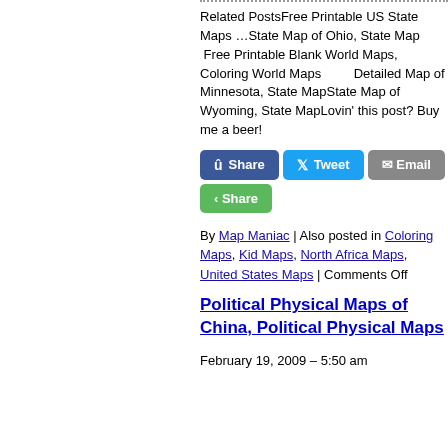Related PostsFree Printable US State Maps …State Map of Ohio, State Map  Free Printable Blank World Maps, Coloring World Maps        Detailed Map of Minnesota, State MapState Map of Wyoming, State MapLovin' this post? Buy me a beer!
[Figure (other): Social sharing buttons: Facebook Share, Twitter Tweet, Email, and another Share button]
By Map Maniac | Also posted in Coloring Maps, Kid Maps, North Africa Maps, United States Maps | Comments Off
Political Physical Maps of China, Political Physical Maps
February 19, 2009 – 5:50 am